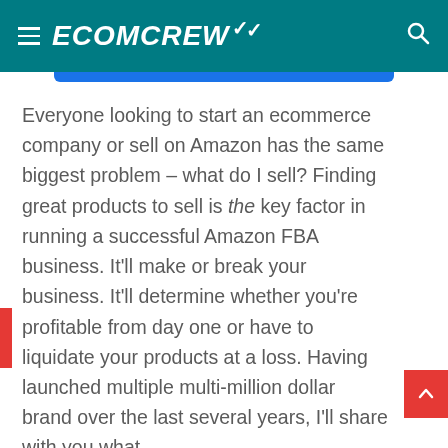ECOMCREW
Everyone looking to start an ecommerce company or sell on Amazon has the same biggest problem – what do I sell? Finding great products to sell is the key factor in running a successful Amazon FBA business. It'll make or break your business. It'll determine whether you're profitable from day one or have to liquidate your products at a loss. Having launched multiple multi-million dollar brand over the last several years, I'll share with you what